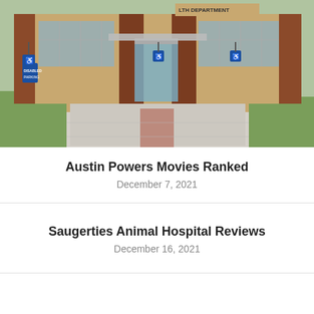[Figure (photo): Exterior photo of a county health department building with brick facade, glass entrance, disabled parking signs, and landscaping]
Austin Powers Movies Ranked
December 7, 2021
Saugerties Animal Hospital Reviews
December 16, 2021